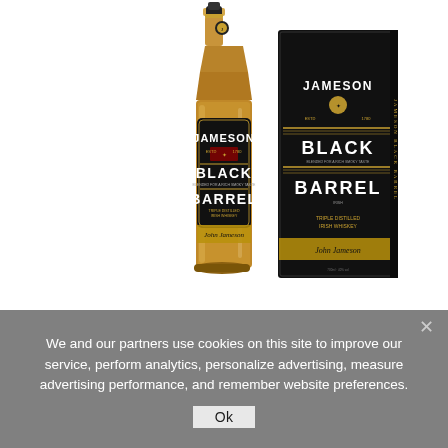[Figure (photo): Jameson Black Barrel Irish whiskey bottle (amber glass with black label showing JAMESON BLACK BARREL, TRIPLE DISTILLED IRISH WHISKEY, and John Jameson signature) alongside its black gift box packaging with gold lettering showing JAMESON BLACK BARREL branding, on a white background.]
We and our partners use cookies on this site to improve our service, perform analytics, personalize advertising, measure advertising performance, and remember website preferences.
Ok